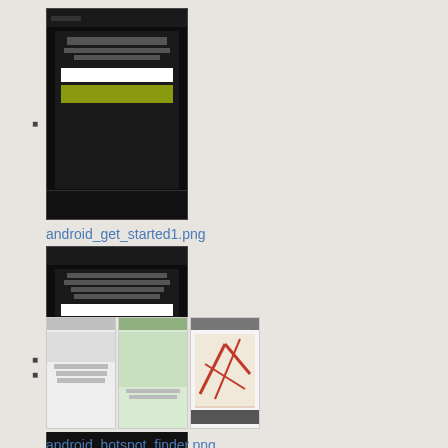android_get_started1.png
1200×1920
2014/10/15 17:31
60.4 KB
android_get_started2.png
1200×1920
2014/10/15 17:33
95 KB
android_hotspot_finder.png